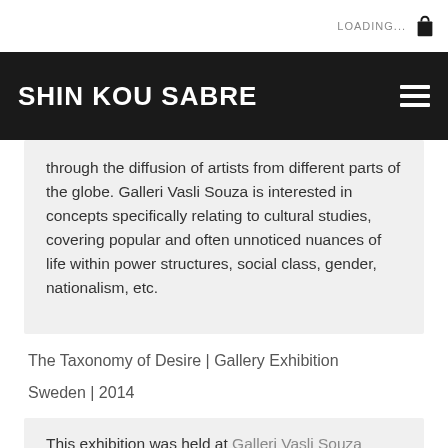LOADING...
SHIN KOU SABRE
through the diffusion of artists from different parts of the globe. Galleri Vasli Souza is interested in concepts specifically relating to cultural studies, covering popular and often unnoticed nuances of life within power structures, social class, gender, nationalism, etc.
The Taxonomy of Desire | Gallery Exhibition
Sweden | 2014
This exhibition was held at Galleri Vasli Souza Malmö,